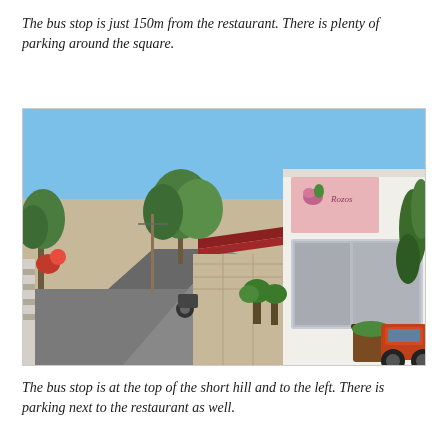The bus stop is just 150m from the restaurant. There is plenty of parking around the square.
[Figure (photo): Street-level photograph of a Mediterranean restaurant exterior. A narrow road leads uphill to the left with trees. The restaurant has a white stone facade with a pink floral sign reading 'Rozos'. Outdoor seating area with plants and a canopy awning is visible. A red/orange car is parked to the right and potted plants line the front wall. Clear blue sky overhead.]
The bus stop is at the top of the short hill and to the left. There is parking next to the restaurant as well.